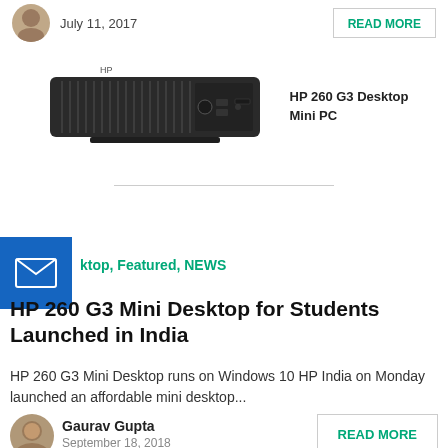[Figure (photo): Small circular avatar photo of a person (partially visible at top)]
July 11, 2017
[Figure (photo): HP 260 G3 Desktop Mini PC product image - a small black compact desktop computer]
HP 260 G3 Desktop Mini PC
[Figure (other): Blue email/envelope icon square]
ktop, Featured, NEWS
HP 260 G3 Mini Desktop for Students Launched in India
HP 260 G3 Mini Desktop runs on Windows 10 HP India on Monday launched an affordable mini desktop...
[Figure (photo): Circular avatar photo of Gaurav Gupta]
Gaurav Gupta
September 18, 2018